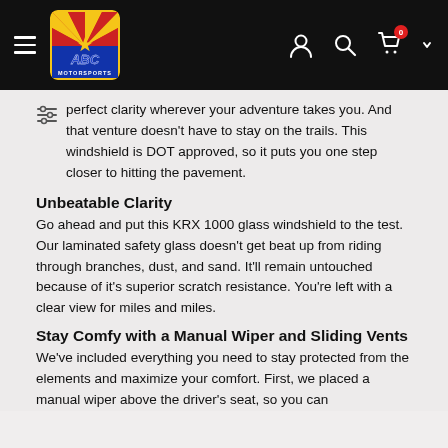ABC Motorsports navigation header with hamburger menu, logo, user icon, search icon, cart (0), and chevron
perfect clarity wherever your adventure takes you. And that venture doesn't have to stay on the trails. This windshield is DOT approved, so it puts you one step closer to hitting the pavement.
Unbeatable Clarity
Go ahead and put this KRX 1000 glass windshield to the test. Our laminated safety glass doesn't get beat up from riding through branches, dust, and sand. It'll remain untouched because of it's superior scratch resistance. You're left with a clear view for miles and miles.
Stay Comfy with a Manual Wiper and Sliding Vents
We've included everything you need to stay protected from the elements and maximize your comfort. First, we placed a manual wiper above the driver's seat, so you can